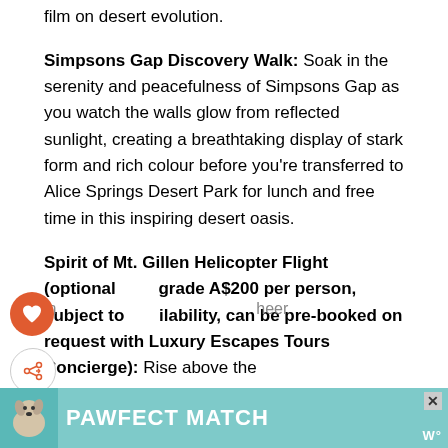film on desert evolution.
Simpsons Gap Discovery Walk: Soak in the serenity and peacefulness of Simpsons Gap as you watch the walls glow from reflected sunlight, creating a breathtaking display of stark form and rich colour before you're transferred to Alice Springs Desert Park for lunch and free time in this inspiring desert oasis.
Spirit of Mt. Gillen Helicopter Flight (optional grade A$200 per person, subject to availability, can be pre-booked on request with Luxury Escapes Tours Concierge): Rise above the inspiring...cheer m...
[Figure (photo): Advertisement banner at bottom of page: PAWFECT MATCH ad with a dog photo on teal/turquoise background]